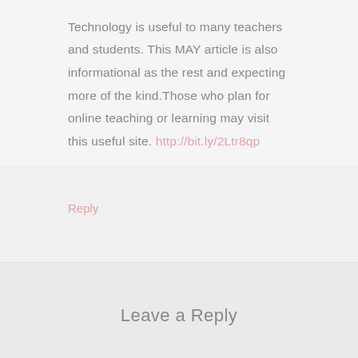Technology is useful to many teachers and students. This MAY article is also informational as the rest and expecting more of the kind.Those who plan for online teaching or learning may visit this useful site. http://bit.ly/2Ltr8qp
Reply
Leave a Reply